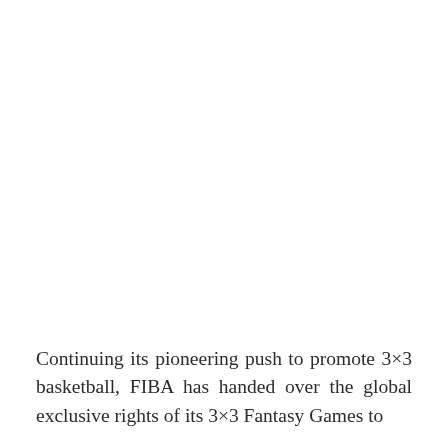Continuing its pioneering push to promote 3×3 basketball, FIBA has handed over the global exclusive rights of its 3×3 Fantasy Games to